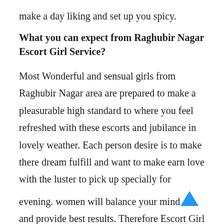make a day liking and set up you spicy.
What you can expect from Raghubir Nagar Escort Girl Service?
Most Wonderful and sensual girls from Raghubir Nagar area are prepared to make a pleasurable high standard to where you feel refreshed with these escorts and jubilance in lovely weather. Each person desire is to make there dream fulfill and want to make earn love with the luster to pick up specially for evening. women will balance your mindset and provide best results. Therefore Escort Girl in Raghubir Nagar would be a premium